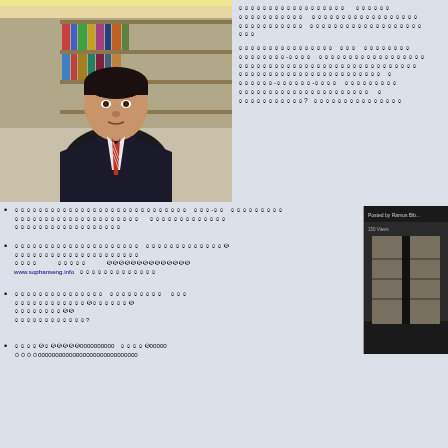[Figure (photo): A man in a suit and tie standing in a library with bookshelves in the background.]
[Khmer script text - biographical/informational paragraph in Khmer language]
[Khmer script bullet point 1 with URL www.sophanseng.info]
[Khmer script bullet point 2]
[Khmer script bullet point 3 ending with question mark]
[Khmer script bullet point 4]
[Figure (photo): A video thumbnail showing library shelving/stacks, labeled 'Posted by Ramos Bib... 150 Views']